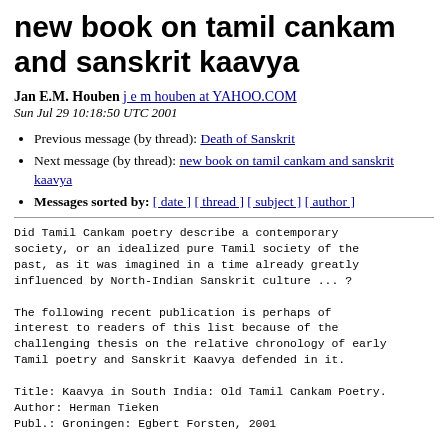new book on tamil cankam and sanskrit kaavya
Jan E.M. Houben j e m houben at YAHOO.COM
Sun Jul 29 10:18:50 UTC 2001
Previous message (by thread): Death of Sanskrit
Next message (by thread): new book on tamil cankam and sanskrit kaavya
Messages sorted by: [ date ] [ thread ] [ subject ] [ author ]
Did Tamil Cankam poetry describe a contemporary
society, or an idealized pure Tamil society of the
past, as it was imagined in a time already greatly
influenced by North-Indian Sanskrit culture ... ?

The following recent publication is perhaps of
interest to readers of this list because of the
challenging thesis on the relative chronology of early
Tamil poetry and Sanskrit Kaavya defended in it.

Title: Kaavya in South India: Old Tamil Cankam Poetry.
Author: Herman Tieken
Publ.: Groningen: Egbert Forsten, 2001